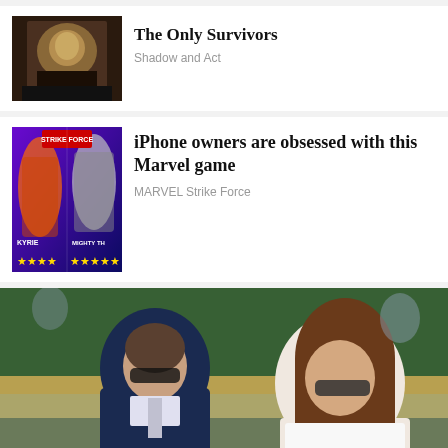[Figure (photo): Thumbnail image of ornate theatrical scene with gold decorations]
The Only Survivors
Shadow and Act
[Figure (photo): Marvel Strike Force game promotional image showing Kyrie and Mighty Thor characters with star ratings]
iPhone owners are obsessed with this Marvel game
MARVEL Strike Force
[Figure (photo): Photo of two people wearing sunglasses sitting at what appears to be a tennis match at Wimbledon. The man on the left wears a navy suit, the woman on the right has long brown hair and wears white lace.]